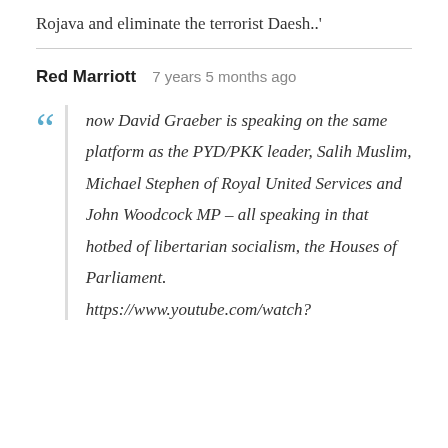Rojava and eliminate the terrorist Daesh..'
Red Marriott   7 years 5 months ago
now David Graeber is speaking on the same platform as the PYD/PKK leader, Salih Muslim, Michael Stephen of Royal United Services and John Woodcock MP – all speaking in that hotbed of libertarian socialism, the Houses of Parliament.

https://www.youtube.com/watch?